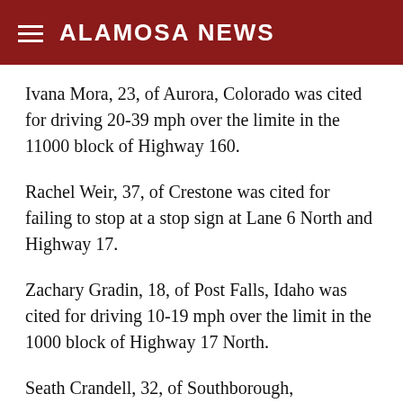ALAMOSA NEWS
Ivana Mora, 23, of Aurora, Colorado was cited for driving 20-39 mph over the limite in the 11000 block of Highway 160.
Rachel Weir, 37, of Crestone was cited for failing to stop at a stop sign at Lane 6 North and Highway 17.
Zachary Gradin, 18, of Post Falls, Idaho was cited for driving 10-19 mph over the limit in the 1000 block of Highway 17 North.
Seath Crandell, 32, of Southborough, Massachusetts was cited for driving 10-19 mph over the limit in the 2000 block of Highway 17 North.
Jennifer Outram, 60, of Mosca was cited for Dog at